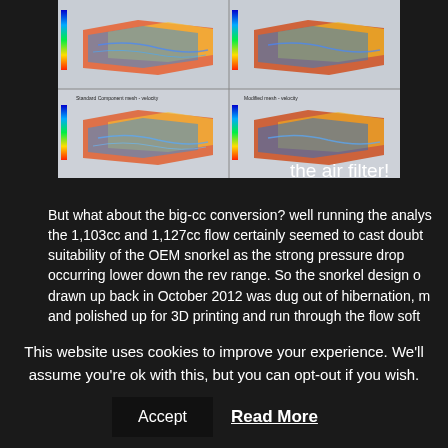[Figure (engineering-diagram): CFD flow simulation images showing Standard Component mesh - velocity and Modified mesh - velocity for air filter analysis, displayed in a 2x2 grid with color scale bars.]
the air filter!
But what about the big-cc conversion? well running the analysis the 1,103cc and 1,127cc flow certainly seemed to cast doubt on suitability of the OEM snorkel as the strong pressure drop occurring lower down the rev range. So the snorkel design originally drawn up back in October 2012 was dug out of hibernation, modified and polished up for 3D printing and run through the flow software - the green line on the graph above. Overall it seems to provide cleaner flow, less pressure drop and maintains a similar
This website uses cookies to improve your experience. We'll assume you're ok with this, but you can opt-out if you wish.
Accept
Read More